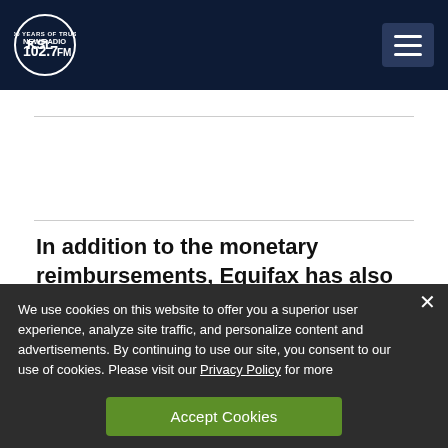[Figure (logo): KSL NewsRadio 102.7 FM logo — circular logo with KSL text and '100 Years of Trust' tagline, white on dark navy background]
In addition to the monetary reimbursements, Equifax has also agreed to offer 10 years of
We use cookies on this website to offer you a superior user experience, analyze site traffic, and personalize content and advertisements. By continuing to use our site, you consent to our use of cookies. Please visit our Privacy Policy for more information.
Accept Cookies